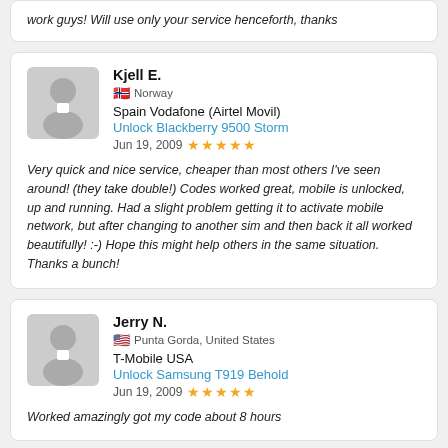work guys! Will use only your service henceforth, thanks
Kjell E.
Norway
Spain Vodafone (Airtel Movil)
Unlock Blackberry 9500 Storm
Jun 19, 2009 ★★★★★
Very quick and nice service, cheaper than most others I've seen around! (they take double!) Codes worked great, mobile is unlocked, up and running. Had a slight problem getting it to activate mobile network, but after changing to another sim and then back it all worked beautifully! :-) Hope this might help others in the same situation. Thanks a bunch!
Jerry N.
Punta Gorda, United States
T-Mobile USA
Unlock Samsung T919 Behold
Jun 19, 2009 ★★★★★
Worked amazingly got my code about 8 hours